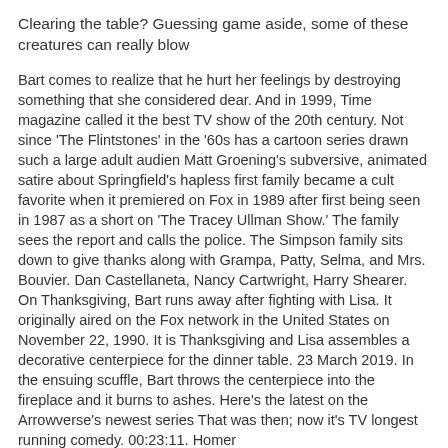Clearing the table? Guessing game aside, some of these creatures can really blow
Bart comes to realize that he hurt her feelings by destroying something that she considered dear. And in 1999, Time magazine called it the best TV show of the 20th century. Not since 'The Flintstones' in the '60s has a cartoon series drawn such a large adult audien Matt Groening's subversive, animated satire about Springfield's hapless first family became a cult favorite when it premiered on Fox in 1989 after first being seen in 1987 as a short on 'The Tracey Ullman Show.' The family sees the report and calls the police. The Simpson family sits down to give thanks along with Grampa, Patty, Selma, and Mrs. Bouvier. Dan Castellaneta, Nancy Cartwright, Harry Shearer. On Thanksgiving, Bart runs away after fighting with Lisa. It originally aired on the Fox network in the United States on November 22, 1990. It is Thanksgiving and Lisa assembles a decorative centerpiece for the dinner table. 23 March 2019. In the ensuing scuffle, Bart throws the centerpiece into the fireplace and it burns to ashes. Here's the latest on the Arrowverse's newest series That was then; now it's TV longest running comedy. 00:23:11. Homer